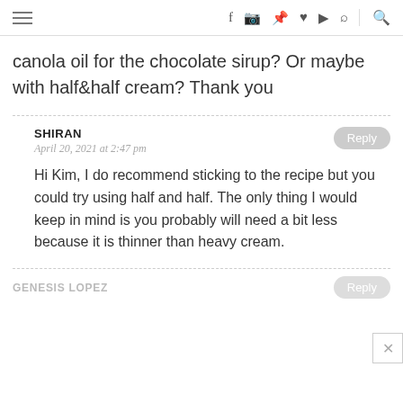navigation bar with hamburger menu, social icons (f, instagram, pinterest, heart, youtube, rss), and search icon
canola oil for the chocolate sirup? Or maybe with half&half cream? Thank you
SHIRAN
April 20, 2021 at 2:47 pm
Hi Kim, I do recommend sticking to the recipe but you could try using half and half. The only thing I would keep in mind is you probably will need a bit less because it is thinner than heavy cream.
GENESIS LOPEZ